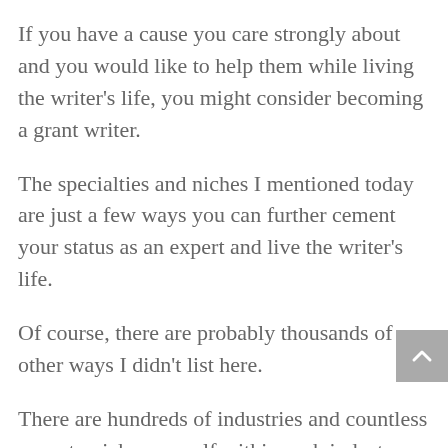If you have a cause you care strongly about and you would like to help them while living the writer's life, you might consider becoming a grant writer.
The specialties and niches I mentioned today are just a few ways you can further cement your status as an expert and live the writer's life.
Of course, there are probably thousands of other ways I didn't list here.
There are hundreds of industries and countless ways to niche yourself within each industry.
For example, your niche could be baby